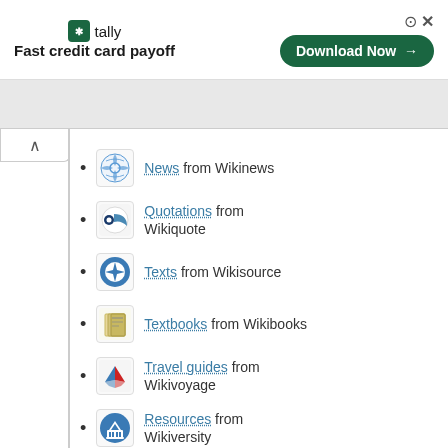[Figure (screenshot): Tally advertisement banner: logo icon, text 'tally Fast credit card payoff', Download Now button, close/help controls]
News from Wikinews
Quotations from Wikiquote
Texts from Wikisource
Textbooks from Wikibooks
Travel guides from Wikivoyage
Resources from Wikiversity